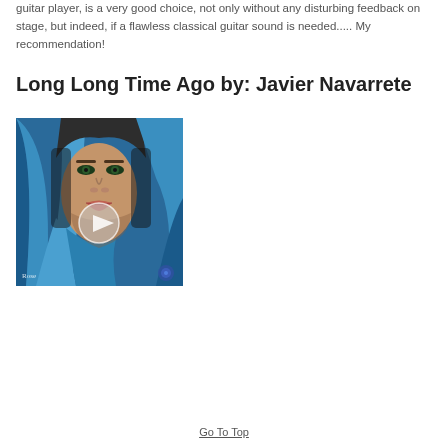guitar player, is a very good choice, not only without any disturbing feedback on stage, but indeed, if a flawless classical guitar sound is needed..... My recommendation!
Long Long Time Ago by: Javier Navarrete
[Figure (photo): Video thumbnail showing a woman with blue fabric wrapped around her head and face, with a play button overlay in the center. Watermark 'Rose' in bottom left, blue rose logo in bottom right.]
Go To Top